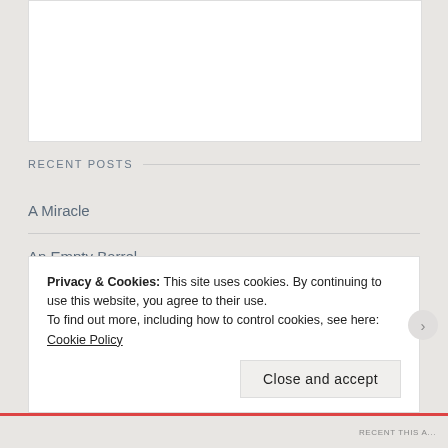[Figure (other): White content area box at top of page]
RECENT POSTS
A Miracle
An Empty Barrel
To Tell the Truth
Privacy & Cookies: This site uses cookies. By continuing to use this website, you agree to their use.
To find out more, including how to control cookies, see here: Cookie Policy
Close and accept